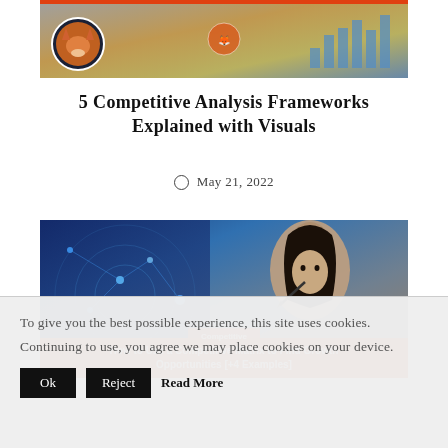[Figure (photo): Top banner image showing bar charts and analytics visuals with an avatar/logo circle on the left and a fox icon in the center, with an orange/red top bar stripe.]
5 Competitive Analysis Frameworks Explained with Visuals
May 21, 2022
[Figure (photo): Image of a woman with dark hair holding a stylus, with digital network overlay on the left, and an orange banner at the bottom reading 'Competitive' and 'How to Use a Competitive Matrix to Find Growth Opportunities [+4 Examples]']
To give you the best possible experience, this site uses cookies. Continuing to use, you agree we may place cookies on your device.
Ok   Reject   Read More